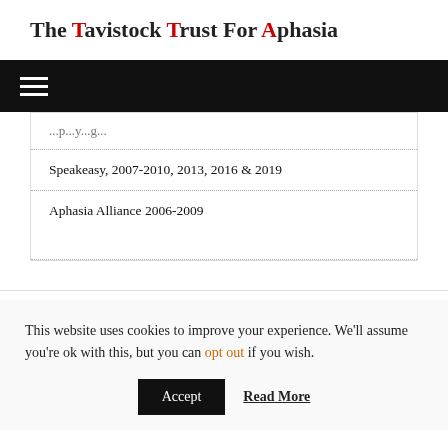The Tavistock Trust For Aphasia
Speakeasy, 2007-2010, 2013, 2016 & 2019
Aphasia Alliance 2006-2009
This website uses cookies to improve your experience. We'll assume you're ok with this, but you can opt out if you wish.
Accept   Read More